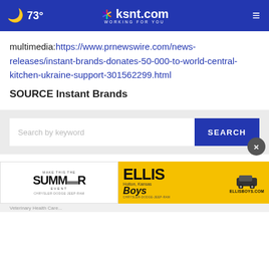73° | ksnt.com WORKING FOR YOU
multimedia:https://www.prnewswire.com/news-releases/instant-brands-donates-50-000-to-world-central-kitchen-ukraine-support-301562299.html
SOURCE Instant Brands
[Figure (screenshot): Search bar with 'Search by keyword' input field and a blue SEARCH button, with a close (×) circle button overlay]
[Figure (screenshot): Ellis Boys advertisement banner featuring summer event promotion for Chrysler-Dodge-Jeep-Ram dealership in Holton, Kansas with yellow background]